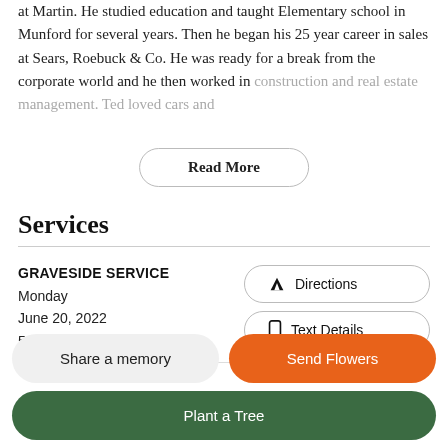at Martin. He studied education and taught Elementary school in Munford for several years. Then he began his 25 year career in sales at Sears, Roebuck & Co. He was ready for a break from the corporate world and he then worked in [faded/obscured text]
Read More
Services
GRAVESIDE SERVICE
Monday
June 20, 2022
5:00 PM
Directions
Text Details
Share a memory
Send Flowers
Plant a Tree